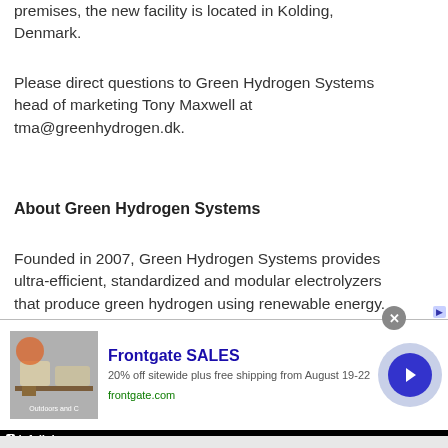premises, the new facility is located in Kolding, Denmark.
Please direct questions to Green Hydrogen Systems head of marketing Tony Maxwell at tma@greenhydrogen.dk.
About Green Hydrogen Systems
Founded in 2007, Green Hydrogen Systems provides ultra-efficient, standardized and modular electrolyzers that produce green hydrogen using renewable energy. The company's
[Figure (screenshot): Infolinks advertisement bar with Frontgate SALES ad: '20% off sitewide plus free shipping from August 19-22', frontgate.com, with outdoor furniture image and navigation arrow button]